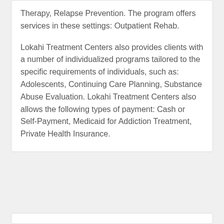Therapy, Relapse Prevention. The program offers services in these settings: Outpatient Rehab.
Lokahi Treatment Centers also provides clients with a number of individualized programs tailored to the specific requirements of individuals, such as: Adolescents, Continuing Care Planning, Substance Abuse Evaluation. Lokahi Treatment Centers also allows the following types of payment: Cash or Self-Payment, Medicaid for Addiction Treatment, Private Health Insurance.